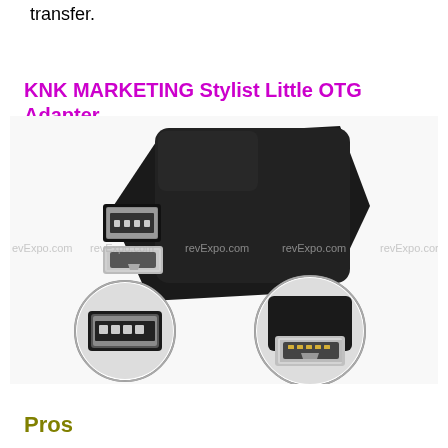transfer.
KNK MARKETING Stylist Little OTG Adapter
[Figure (photo): Product photo of a small black OTG Micro USB adapter. The main image shows the adapter at an angle with a metallic Micro USB male connector and a black USB-A female port. Below are two circular close-up inset photos: one showing the USB-A female port face-on with connector pins visible, and another showing the Micro USB male connector. Multiple 'revExpo.com' watermarks are overlaid across the image.]
Pros